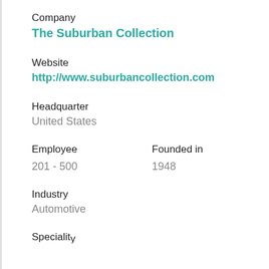Company
The Suburban Collection
Website
http://www.suburbancollection.com
Headquarter
United States
Employee
201 - 500
Founded in
1948
Industry
Automotive
Speciality